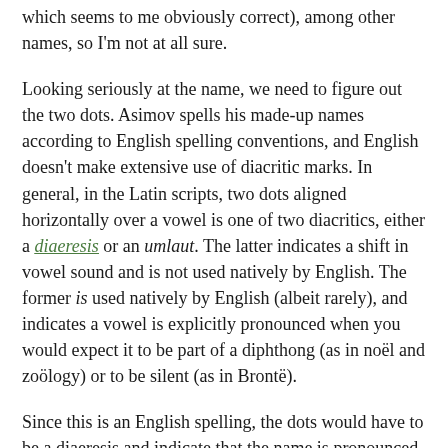which seems to me obviously correct), among other names, so I'm not at all sure.
Looking seriously at the name, we need to figure out the two dots. Asimov spells his made-up names according to English spelling conventions, and English doesn't make extensive use of diacritic marks. In general, in the Latin scripts, two dots aligned horizontally over a vowel is one of two diacritics, either a diaeresis or an umlaut. The latter indicates a shift in vowel sound and is not used natively by English. The former is used natively by English (albeit rarely), and indicates a vowel is explicitly pronounced when you would expect it to be part of a diphthong (as in noël and zoölogy) or to be silent (as in Brontë).
Since this is an English spelling, the dots would have to be a diaeresis and indicate that the name is pronounced with two syllables, "no-ys." That gives us the first half easily enough, "Ys" as an English syllable is still a bit of a puzzle, but there is a